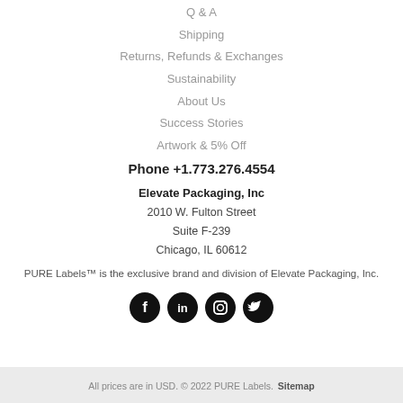Q & A
Shipping
Returns, Refunds & Exchanges
Sustainability
About Us
Success Stories
Artwork & 5% Off
Phone +1.773.276.4554
Elevate Packaging, Inc
2010 W. Fulton Street
Suite F-239
Chicago, IL 60612
PURE Labels™ is the exclusive brand and division of Elevate Packaging, Inc.
[Figure (infographic): Four black circular social media icons: Facebook, LinkedIn, Instagram, Twitter]
All prices are in USD. © 2022 PURE Labels. Sitemap